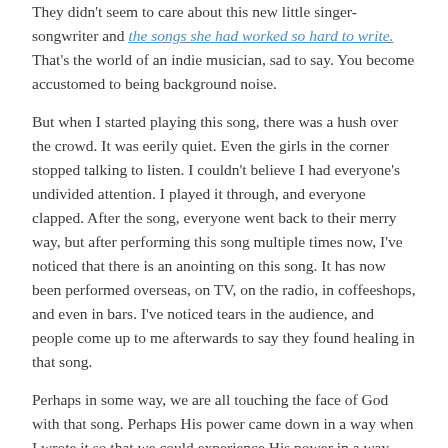They didn't seem to care about this new little singer-songwriter and the songs she had worked so hard to write. That's the world of an indie musician, sad to say. You become accustomed to being background noise.
But when I started playing this song, there was a hush over the crowd. It was eerily quiet. Even the girls in the corner stopped talking to listen. I couldn't believe I had everyone's undivided attention. I played it through, and everyone clapped. After the song, everyone went back to their merry way, but after performing this song multiple times now, I've noticed that there is an anointing on this song. It has now been performed overseas, on TV, on the radio, in coffeeshops, and even in bars. I've noticed tears in the audience, and people come up to me afterwards to say they found healing in that song.
Perhaps in some way, we are all touching the face of God with that song. Perhaps His power came down in a way when I wrote it so that we could experience His power in a way that wouldn't kill us, but heal us. My hope is that you will find the same healing when you listen to it.
We recorded it on my first album, and because we loved it so much, we did another version of it for the second record, which